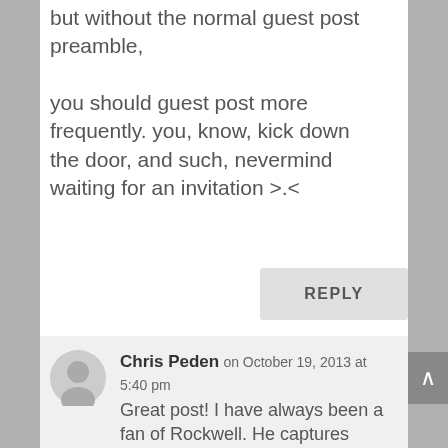but without the normal guest post preamble,

you should guest post more frequently. you, know, kick down the door, and such, nevermind waiting for an invitation >.<
REPLY
Chris Peden on October 19, 2013 at 5:40 pm
Great post! I have always been a fan of Rockwell. He captures expression and emotion so well. Such